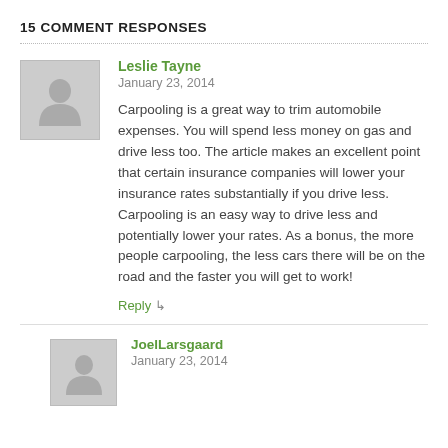15 COMMENT RESPONSES
Leslie Tayne
January 23, 2014
Carpooling is a great way to trim automobile expenses. You will spend less money on gas and drive less too. The article makes an excellent point that certain insurance companies will lower your insurance rates substantially if you drive less. Carpooling is an easy way to drive less and potentially lower your rates. As a bonus, the more people carpooling, the less cars there will be on the road and the faster you will get to work!
Reply
JoelLarsgaard
January 23, 2014